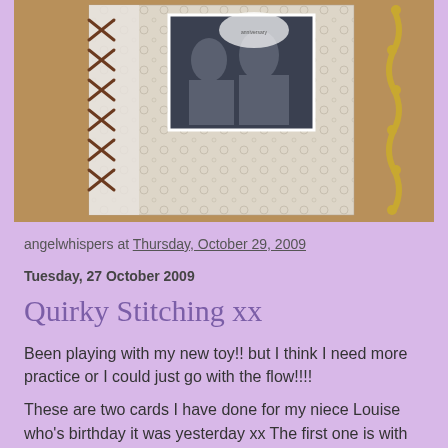[Figure (photo): Craft scrapbook card with lace-up ribbon detail on the left side, decorative patterned paper, an inset photo of two people, and a gold chain embellishment on the right, set on a brown textured background.]
angelwhispers at Thursday, October 29, 2009
Tuesday, 27 October 2009
Quirky Stitching xx
Been playing with my new toy!! but I think I need more practice or I could just go with the flow!!!!
These are two cards I have done for my niece Louise who's birthday it was yesterday xx The first one is with the new Bo Bunny papers called "Delilah" which is now stocked at the